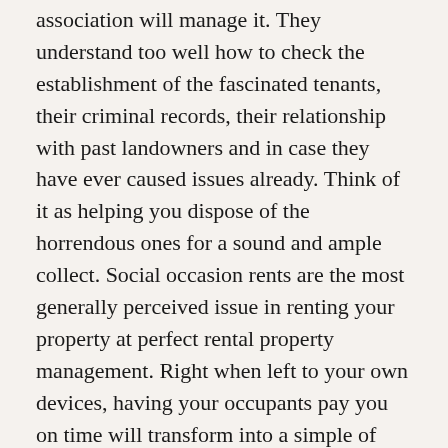association will manage it. They understand too well how to check the establishment of the fascinated tenants, their criminal records, their relationship with past landowners and in case they have ever caused issues already. Think of it as helping you dispose of the horrendous ones for a sound and ample collect. Social occasion rents are the most generally perceived issue in renting your property at perfect rental property management. Right when left to your own devices, having your occupants pay you on time will transform into a simple of concealing and search for among them and you as the land proprietor, certainly a couple of tenants will pull at your heartstrings and increment your sympathy for the desire that you will let them pull off it.
Time and money
A compelling delegate understands that relegating tasks is key for a productive business so one can